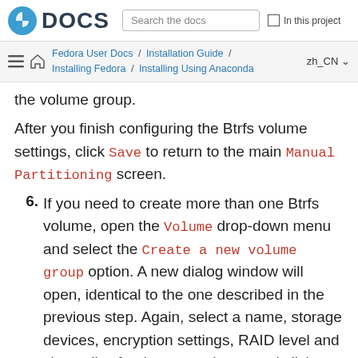Fedora DOCS | Search the docs | In this project
Fedora User Docs / Installation Guide / Installing Fedora / Installing Using Anaconda | zh_CN
the volume group.
After you finish configuring the Btrfs volume settings, click Save to return to the main Manual Partitioning screen.
6. If you need to create more than one Btrfs volume, open the Volume drop-down menu and select the Create a new volume group option. A new dialog window will open, identical to the one described in the previous step. Again, select a name, storage devices, encryption settings, RAID level and size policy for the new volume, and click S... The new